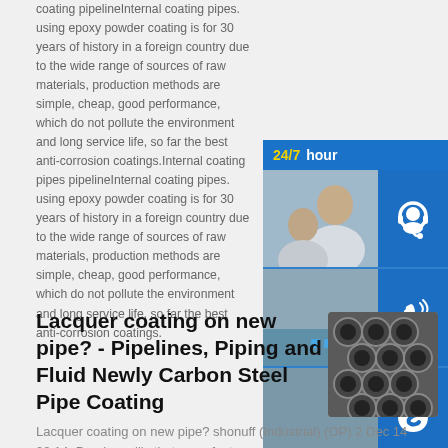coating pipelineInternal coating pipes. using epoxy powder coating is for 30 years of history in a foreign country due to the wide range of sources of raw materials, production methods are simple, cheap, good performance, which do not pollute the environment and long service life, so far the best anti-corrosion coatings.Internal coating pipes pipelineInternal coating pipes. using epoxy powder coating is for 30 years of history in a foreign country due to the wide range of sources of raw materials, production methods are simple, cheap, good performance, which do not pollute the environment and long service life, so far the best anti-corrosion coatings.
[Figure (photo): Customer service chat widget showing '24/7 hour' header, customer service photo with agent smiling, and three icons: headset, phone, and Skype (S logo), with 'Click to chat' bar at bottom]
Lacquer coating on new pipe? - Pipelines, Piping and Fluid Newly Carbon Steel Pipe Coating
[Figure (photo): Photo of bundled carbon steel pipes viewed from end showing circular pipe openings]
Lacquer coating on new pipe? shonuff (Industrial) (OP) 2 Dec 14 20:14. Do pipe mills that manufacter